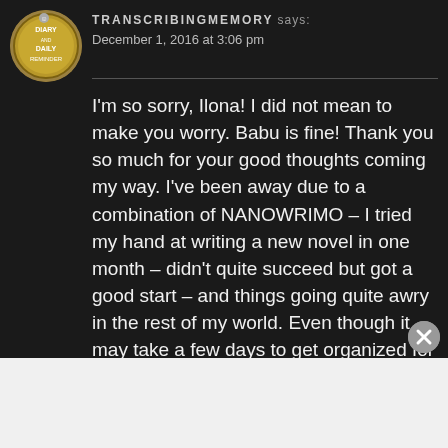[Figure (photo): Circular avatar/profile image showing a coin-like badge with text reading DIARY DAILY REMINDER]
TRANSCRIBINGMEMORY says: December 1, 2016 at 3:06 pm
I'm so sorry, Ilona! I did not mean to make you worry. Babu is fine! Thank you so much for your good thoughts coming my way. I've been away due to a combination of NANOWRIMO – I tried my hand at writing a new novel in one month – didn't quite succeed but got a good start – and things going quite awry in the rest of my world. Even though it may take a few days to get organized for a new post
Advertisements
The Platform Where WordPress Works Best
[Figure (logo): Pressable logo with blue P icon and text Pressable]